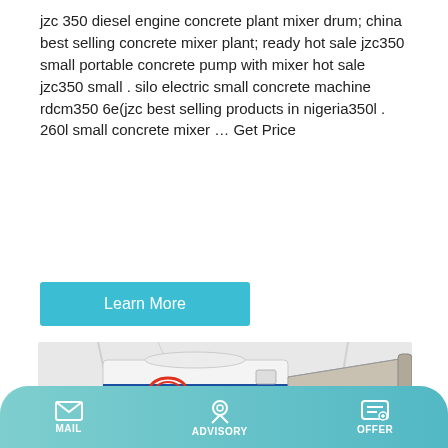jzc 350 diesel engine concrete plant mixer drum; china best selling concrete mixer plant; ready hot sale jzc350 small portable concrete pump with mixer hot sale jzc350 small . silo electric small concrete machine rdcm350 6e(jzc best selling products in nigeria350l . 260l small concrete mixer … Get Price
Learn More
[Figure (photo): Talenet branded portable concrete pump machine on wheels with trailer hitch, white body with blue and red logo, industrial background]
MAIL   ADVISORY   OFFER